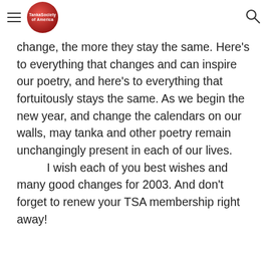[hamburger menu] [logo] [search icon]
change, the more they stay the same. Here's to everything that changes and can inspire our poetry, and here's to everything that fortuitously stays the same. As we begin the new year, and change the calendars on our walls, may tanka and other poetry remain unchangingly present in each of our lives.
	I wish each of you best wishes and many good changes for 2003. And don't forget to renew your TSA membership right away!